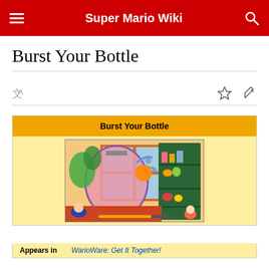Super Mario Wiki
Burst Your Bottle
[Figure (screenshot): Infobox for 'Burst Your Bottle' microgame showing an orange header bar, a game screenshot with a bursting jar and a shelf, and an 'Appears in' field linking to WarioWare: Get It Together!]
Appears in WarioWare: Get It Together!